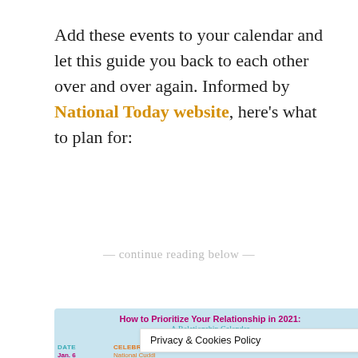Add these events to your calendar and let this guide you back to each other over and over again. Informed by National Today website, here's what to plan for:
— continue reading below —
[Figure (infographic): Infographic titled 'How to Prioritize Your Relationship in 2021: A Relationship Calendar' with decorative heart and arrows, followed by a table with columns DATE, CELEBRATION, MEANING showing entries for Jan. 6 (National Cuddl...) and Jan. 21 (National Huggi...) partially visible, with a Privacy & Cookies Policy overlay box.]